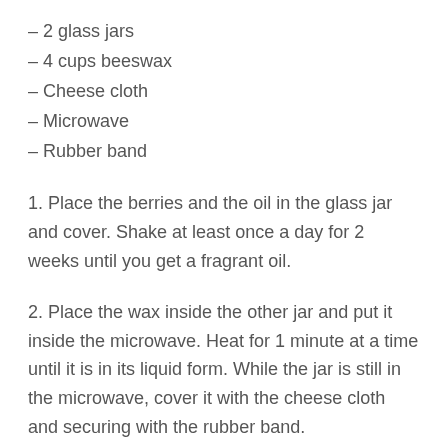– 2 glass jars
– 4 cups beeswax
– Cheese cloth
– Microwave
– Rubber band
1. Place the berries and the oil in the glass jar and cover. Shake at least once a day for 2 weeks until you get a fragrant oil.
2. Place the wax inside the other jar and put it inside the microwave. Heat for 1 minute at a time until it is in its liquid form. While the jar is still in the microwave, cover it with the cheese cloth and securing with the rubber band.
3. Pour the oil from the other jar into a saucopan and heat